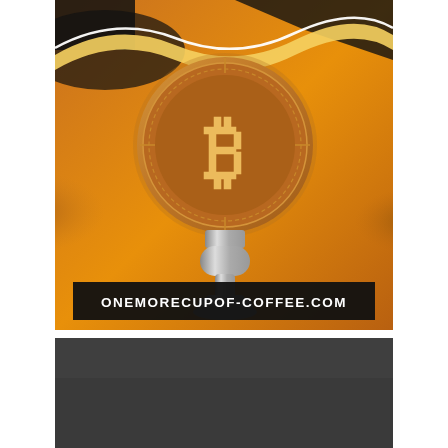[Figure (photo): A golden/amber-toned photo of a Bitcoin coin mounted on top of a decorative key or trophy stand, placed on a reflective surface. A black banner at the bottom reads 'ONEMORECUPOF-COFFEE.COM'. A gold and white wavy design element overlays the top portion of the image.]
[Figure (photo): Bottom portion of a second image, showing a dark gray/charcoal background — appears to be the top edge of another image below the main photo.]